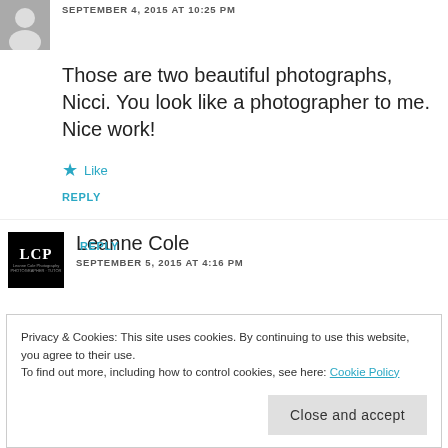SEPTEMBER 4, 2015 AT 10:25 PM
Those are two beautiful photographs, Nicci. You look like a photographer to me. Nice work!
★ Like
REPLY
Leanne Cole
SEPTEMBER 5, 2015 AT 4:16 PM
Privacy & Cookies: This site uses cookies. By continuing to use this website, you agree to their use.
To find out more, including how to control cookies, see here: Cookie Policy
Close and accept
REPLY